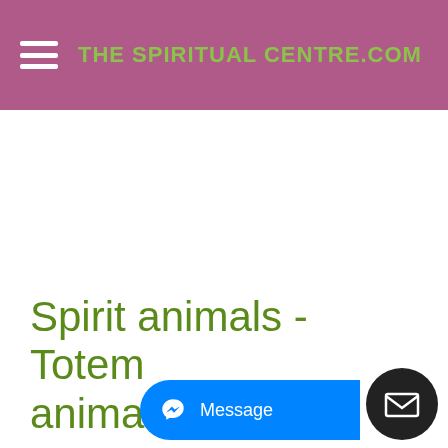THE SPIRITUAL CENTRE.COM
Spirit animals - Totem animals - Power...